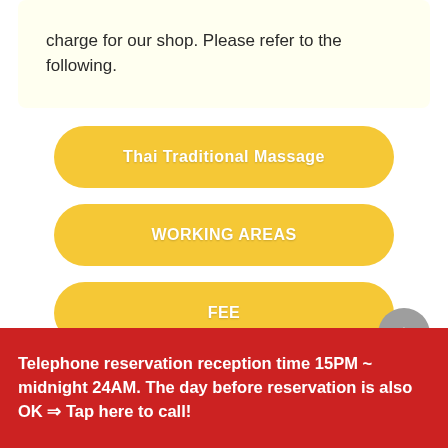charge for our shop. Please refer to the following.
Thai Traditional Massage
WORKING AREAS
FEE
COUPONS
Telephone reservation reception time 15PM ~ midnight 24AM. The day before reservation is also OK ⇒ Tap here to call!